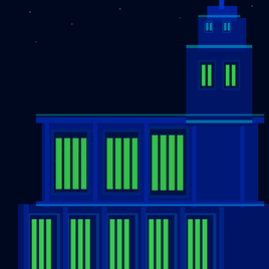[Figure (screenshot): Screenshot of a forum page showing a pixel art building (blue gothic/cathedral style with green windows) on the left, user profile info in the middle (TSC Profile, Posts: 1480, icons), and a forum reply on the right (Re: Sonic 1 Mega..., Reply #11 on: April 10, 2007, 03:58:0... am). Reply text: Great work so far. And yay for Moonw... music in some levels! (I want Beat]
Holy Roman Emperor
TSC Profile
Posts: 1480
Re: Sonic 1 Megan
« Reply #11 on: April 10, 2007, 03:58:0... am »
Great work so far. And yay for Moonw... music in some levels! (I want Beat